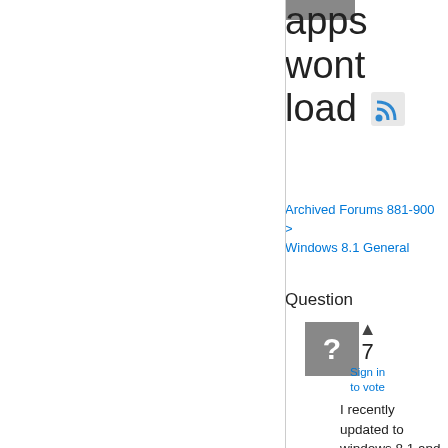apps wont load
Archived Forums 881-900 > Windows 8.1 General
Question
[Figure (other): Gray avatar placeholder with white question mark]
7
Sign in to vote
I recently updated to windows 8.1 and now nothing in the modern UI will launch. The store app, any of my installed apps, or even the